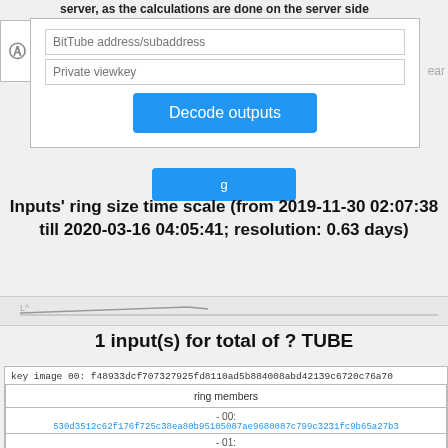server, as the calculations are done on the server side
BitTube address/subaddress
Private viewkey
Decode outputs
Inputs' ring size time scale (from 2019-11-30 02:07:38 till 2020-03-16 04:05:41; resolution: 0.63 days)
1 input(s) for total of ? TUBE
key image 00: f48933dcf707327925fd8110ad5b884008abd42139c6720c76a70...
| ring members |
| --- |
| - 00: | 530d3512c62f176f725c38ea80b95105087ae9680087c799c3231fc9b65a27b3... |
| - 01: | 6e60623798a4269ea9a6b5ce07fd37ba89a9f3f7cd2b4f08118f969028ac094e... |